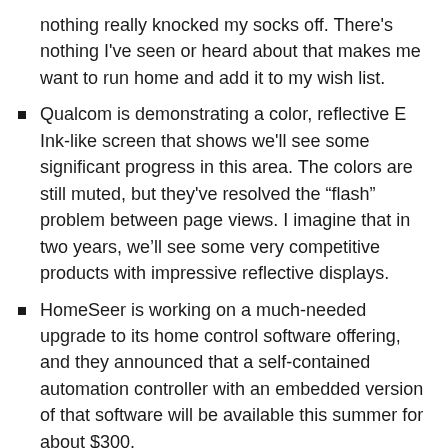nothing really knocked my socks off. There's nothing I've seen or heard about that makes me want to run home and add it to my wish list.
Qualcom is demonstrating a color, reflective E Ink-like screen that shows we'll see some significant progress in this area. The colors are still muted, but they've resolved the “flash” problem between page views. I imagine that in two years, we’ll see some very competitive products with impressive reflective displays.
HomeSeer is working on a much-needed upgrade to its home control software offering, and they announced that a self-contained automation controller with an embedded version of that software will be available this summer for about $300.
There were literally hundreds—possibly thousands—of